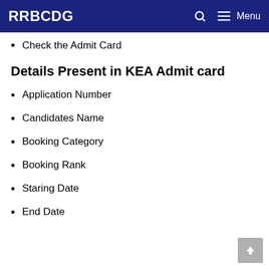RRBCDG
Check the Admit Card
Details Present in KEA Admit card
Application Number
Candidates Name
Booking Category
Booking Rank
Staring Date
End Date